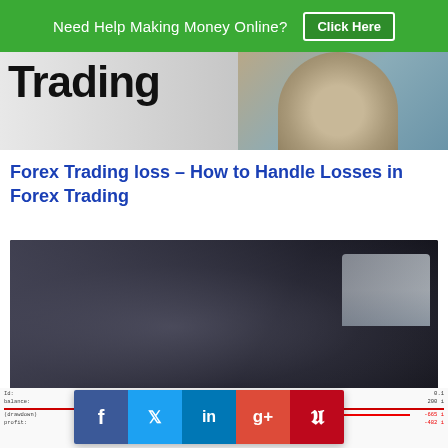Need Help Making Money Online? Click Here
[Figure (photo): Partial image showing the word 'Trading' in bold and a person's face/chin on the right]
Forex Trading loss – How to Handle Losses in Forex Trading
[Figure (photo): Man wearing glasses with an open mouth, shocked expression, looking at a laptop screen]
How To Deal With Forex Trading Losses
[Figure (screenshot): Trading terminal data rows with account information, partially obscured by social share buttons]
[Figure (infographic): Social sharing buttons: Facebook, Twitter, LinkedIn, Google+, Pinterest]